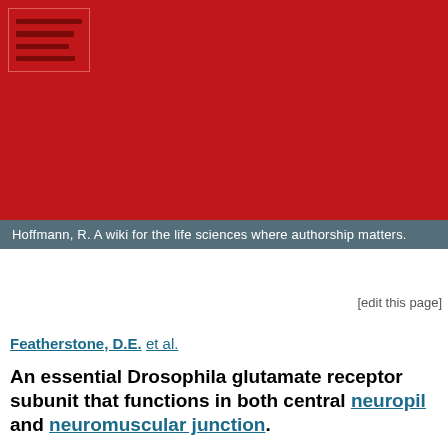[Figure (logo): Red header background with wiki logo consisting of horizontal dark lines on red background]
Hoffmann, R. A wiki for the life sciences where authorship matters.
[edit this page]
Featherstone, D.E. et al.
An essential Drosophila glutamate receptor subunit that functions in both central neuropil and neuromuscular junction.
A Drosophila forward genetic screen for mutants with defective synaptic development identified bad reception (brec). Homozygous brec mutants are embryonic lethal, paralyzed, and show no detectable synaptic transmission at the glutamatergic neuromuscular junction (NMJ). Genetic mapping, complementation tests, and genomic sequencing show that brec mutations disrupt a previously uncharacterized ionotropic glutamate receptor subunit, named here